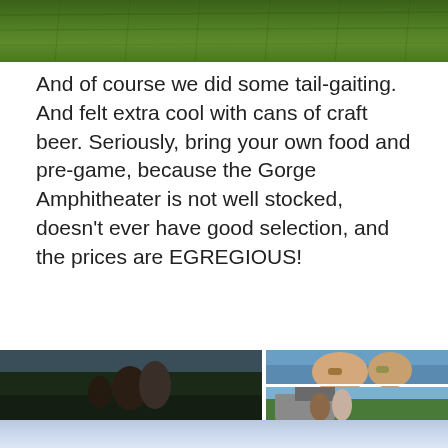[Figure (photo): Green grass field photo at the top of the page]
And of course we did some tail-gaiting. And felt extra cool with cans of craft beer. Seriously, bring your own food and pre-game, because the Gorge Amphitheater is not well stocked, doesn't ever have good selection, and the prices are EGREGIOUS!
[Figure (photo): Photo collage: left photo shows two people standing on a grassy hillside at an amphitheater with a crowd and landscape view; top right photo shows two people smiling close-up selfie with sunglasses; bottom right photo shows a couple standing by the open trunk of an SUV in a parking area]
[Figure (photo): Bottom strip showing a light blue/lavender gradient sky]